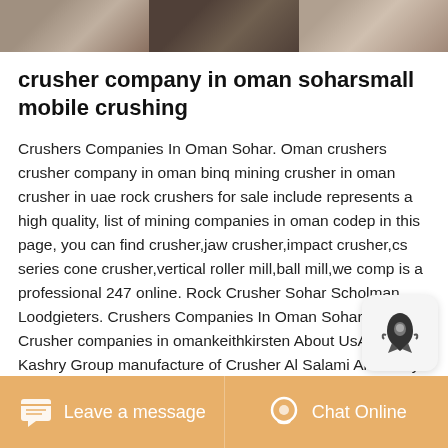[Figure (photo): Three cropped photo thumbnails in a horizontal strip at the top of the page]
crusher company in oman soharsmall mobile crushing
Crushers Companies In Oman Sohar. Oman crushers crusher company in oman binq mining crusher in oman crusher in uae rock crushers for sale include represents a high quality, list of mining companies in oman codep in this page, you can find crusher,jaw crusher,impact crusher,cs series cone crusher,vertical roller mill,ball mill,we comp is a professional 247 online. Rock Crusher Sohar Scholman Loodgieters. Crushers Companies In Oman Sohar Whipped Crusher companies in omankeithkirsten About UsAl Salami Kashry Group manufacture of Crusher Al Salami Al Kashry Group is a Omani Owned Group of Companies in Operation in the Sultanate of Oman since 1984 and today
Leave a message   Chat Online